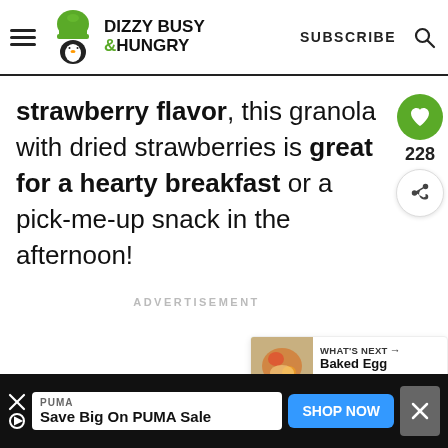DIZZY BUSY & HUNGRY | SUBSCRIBE
strawberry flavor, this granola with dried strawberries is great for a hearty breakfast or a pick-me-up snack in the afternoon!
ADVERTISEMENT
228
WHAT'S NEXT → Baked Egg Frittata with...
PUMA
Save Big On PUMA Sale
SHOP NOW